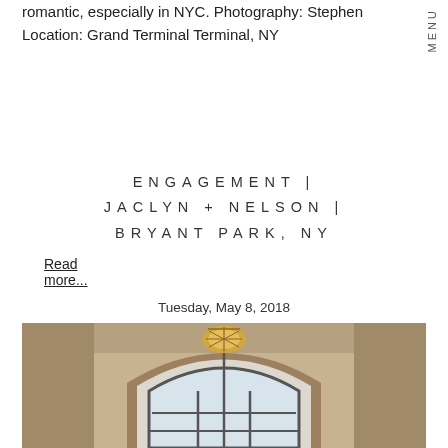romantic, especially in NYC. Photography: Stephen Location: Grand Terminal Terminal, NY
Read more...
ENGAGEMENT | JACLYN + NELSON | BRYANT PARK, NY
Tuesday, May 8, 2018
[Figure (photo): Interior architectural photo of a grand arched window with stone surround and a decorative ceiling light fixture, taken at Bryant Park, NY]